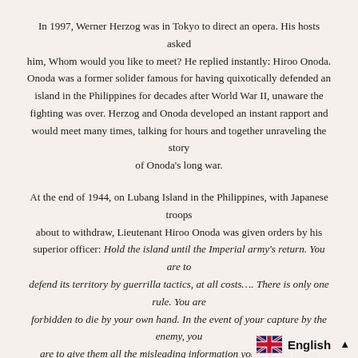In 1997, Werner Herzog was in Tokyo to direct an opera. His hosts asked him, Whom would you like to meet? He replied instantly: Hiroo Onoda. Onoda was a former solider famous for having quixotically defended an island in the Philippines for decades after World War II, unaware the fighting was over. Herzog and Onoda developed an instant rapport and would meet many times, talking for hours and together unraveling the story of Onoda's long war.
At the end of 1944, on Lubang Island in the Philippines, with Japanese troops about to withdraw, Lieutenant Hiroo Onoda was given orders by his superior officer: Hold the island until the Imperial army's return. You are to defend its territory by guerrilla tactics, at all costs…. There is only one rule. You are forbidden to die by your own hand. In the event of your capture by the enemy, you are to give them all the misleading information you can. So began Onoda's long campaign, during which he became fluent in the hidden language of the jungle. Soon weeks turned into months, months into years, and years into decades—until eventually time itself seemed to melt away. All the while Onoda continued to fight his fictitious war, at once with other soldiers, and then, finally, alone, a char